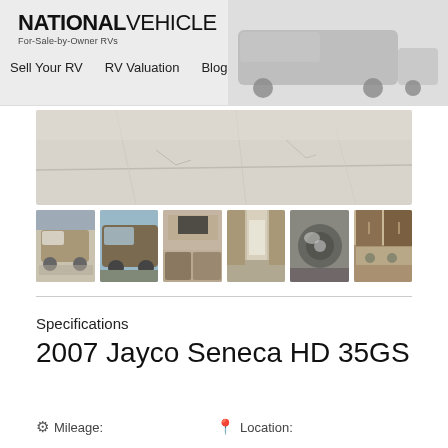NATIONAL VEHICLE - For-Sale-by-Owner RVs | Sell Your RV | RV Valuation | Blog
[Figure (photo): Main large photo showing concrete pavement/ground surface from an RV listing]
[Figure (photo): Thumbnail 1: exterior side view of a Class C motorhome (Jayco Seneca)]
[Figure (photo): Thumbnail 2: exterior front/side view of Jayco Seneca motorhome in a lot]
[Figure (photo): Thumbnail 3: interior kitchen/living area of the RV]
[Figure (photo): Thumbnail 4: interior hallway/bedroom view toward the rear]
[Figure (photo): Thumbnail 5: interior view of engine/mechanical area]
[Figure (photo): Thumbnail 6: interior kitchen counter/stove area]
Specifications
2007 Jayco Seneca HD 35GS
Mileage:    Location: